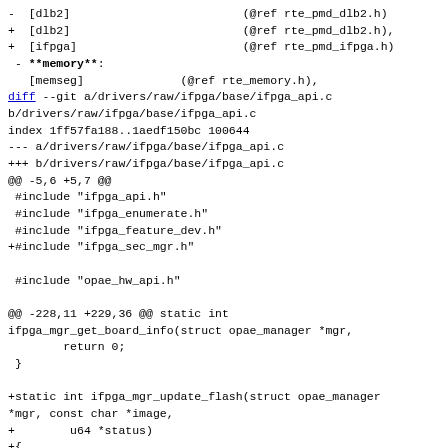- [dlb2]                         (@ref rte_pmd_dlb2.h)
+ [dlb2]                         (@ref rte_pmd_dlb2.h),
+ [ifpga]                        (@ref rte_pmd_ifpga.h)
- **memory**:
   [memseg]              (@ref rte_memory.h),
diff --git a/drivers/raw/ifpga/base/ifpga_api.c b/drivers/raw/ifpga/base/ifpga_api.c
index 1ff57fa188..1aedf150bc 100644
--- a/drivers/raw/ifpga/base/ifpga_api.c
+++ b/drivers/raw/ifpga/base/ifpga_api.c
@@ -5,6 +5,7 @@
 #include "ifpga_api.h"
 #include "ifpga_enumerate.h"
 #include "ifpga_feature_dev.h"
+#include "ifpga_sec_mgr.h"

 #include "opae_hw_api.h"

@@ -228,11 +229,36 @@ static int ifpga_mgr_get_board_info(struct opae_manager *mgr,
        return 0;
 }

+static int ifpga_mgr_update_flash(struct opae_manager *mgr, const char *image,
+        u64 *status)
+{
+        struct ifpga_fme_hw *fme = mgr->data;
+